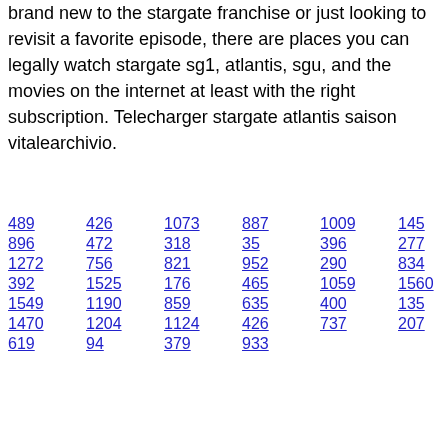brand new to the stargate franchise or just looking to revisit a favorite episode, there are places you can legally watch stargate sg1, atlantis, sgu, and the movies on the internet at least with the right subscription. Telecharger stargate atlantis saison vitalearchivio.
489 426 1073 887 1009 145
896 472 318 35 396 277 1483
1272 756 821 952 290 834
392 1525 176 465 1059 1560
1549 1190 859 635 400 135
1470 1204 1124 426 737 207
619 94 379 933